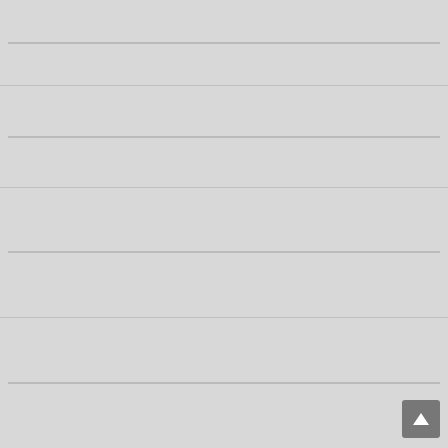Sex College Social Media Commonsense PDF 167cd9de1
Crack Code Customer Experience Conversation PDF 1b6ba3e67
Self Management Efficiency Corporations Yugoslavia Routledge PDF 21f6d8bd6
Confidence Pocketbook Little Exercises Self Assured PDF 3aeb8e322
Consultant Independent Contractor Agreements Stephen PDF B6d611157
This Book Worth EURO25 000 PDF 991c31453
Logistikwissen Kompakt Gruyter Studium German PDF 0112cad10